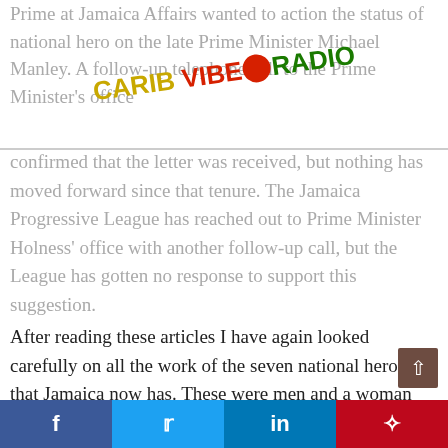Carib Vibe Radio
Prime at Jamaica Affairs wanted to action the status of national hero on the late Prime Minister Michael Manley. A follow-up telephone call to the Prime Minister's office confirmed that the letter was received, but nothing has moved forward since that tenure. The Jamaica Progressive League has reached out to Prime Minister Holness' office with another follow-up call, but the League has gotten no response to support this suggestion.
After reading these articles I have again looked carefully on all the work of the seven national heroes that Jamaica now has. These were men and a woman who were willing to give up of themselves even their lives to save the destiny of our nation, Jamaica. Thus, we should consider giving the national hero a prestigious honor, achievable only to any Jamaican citizen when distinguished services are rendered rightly for the
f  t  in  p